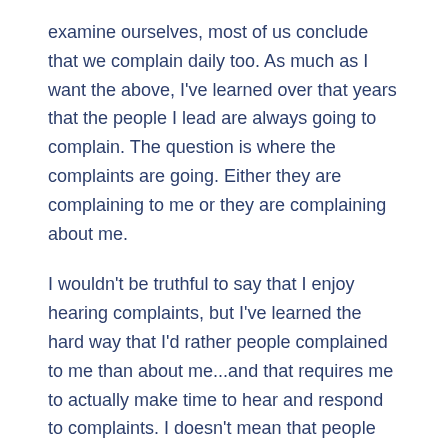examine ourselves, most of us conclude that we complain daily too. As much as I want the above, I've learned over that years that the people I lead are always going to complain. The question is where the complaints are going. Either they are complaining to me or they are complaining about me.
I wouldn't be truthful to say that I enjoy hearing complaints, but I've learned the hard way that I'd rather people complained to me than about me...and that requires me to actually make time to hear and respond to complaints. I doesn't mean that people can complain all day long, but it does mean that I need to engage people and be sure they are heard.